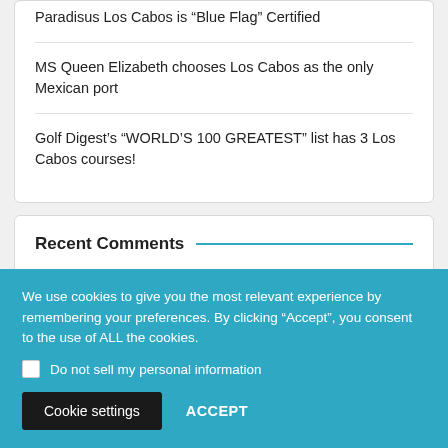Paradisus Los Cabos is “Blue Flag” Certified
MS Queen Elizabeth chooses Los Cabos as the only Mexican port
Golf Digest’s “WORLD’S 100 GREATEST” list has 3 Los Cabos courses!
Recent Comments
We use cookies to give you the most relevant experience by remembering your preferences. By clicking “Accept”, you consent to the use of ALL the cookies.
Do not sell my personal information
Cookie settings
ACCEPT